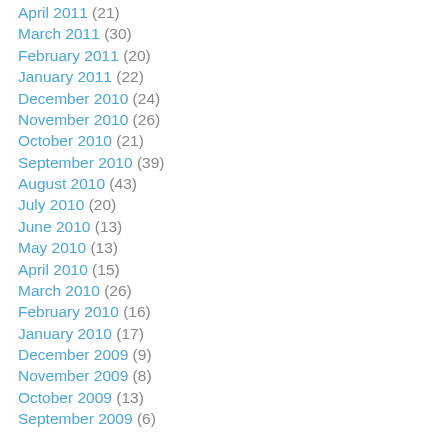April 2011 (21)
March 2011 (30)
February 2011 (20)
January 2011 (22)
December 2010 (24)
November 2010 (26)
October 2010 (21)
September 2010 (39)
August 2010 (43)
July 2010 (20)
June 2010 (13)
May 2010 (13)
April 2010 (15)
March 2010 (26)
February 2010 (16)
January 2010 (17)
December 2009 (9)
November 2009 (8)
October 2009 (13)
September 2009 (6)